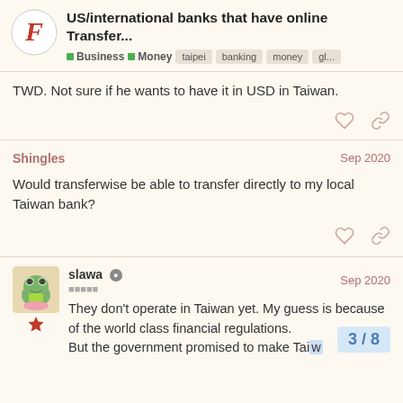US/international banks that have online Transfer... Business Money taipei banking money gl...
TWD. Not sure if he wants to have it in USD in Taiwan.
Shingles Sep 2020
Would transferwise be able to transfer directly to my local Taiwan bank?
slawa Sep 2020
They don't operate in Taiwan yet. My guess is because of the world class financial regulations. But the government promised to make Tai...